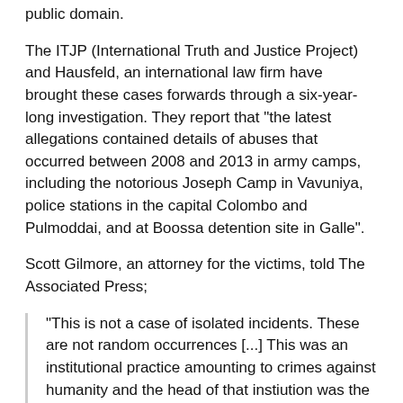public domain.
The ITJP (International Truth and Justice Project) and Hausfeld, an international law firm have brought these cases forwards through a six-year-long investigation. They report that "the latest allegations contained details of abuses that occurred between 2008 and 2013 in army camps, including the notorious Joseph Camp in Vavuniya, police stations in the capital Colombo and Pulmoddai, and at Boossa detention site in Galle".
Scott Gilmore, an attorney for the victims, told The Associated Press;
"This is not a case of isolated incidents. These are not random occurrences [...] This was an institutional practice amounting to crimes against humanity and the head of that instiution was the defence secretary, Gotabaya Rajapaksa"
Gotabaya is a dual citizen and is facing charges under a federal court in Los Angeles under the Torture Victim Protection Act, which